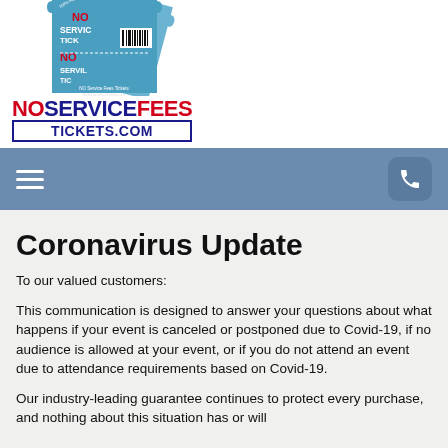[Figure (logo): NoServiceFees Tickets.com logo with ticket graphic showing stacked ticket images with 'NO SERVICE FEES' text and '100% Buyer Guarantee' labels, plus the brand name NOSERVICEFEES TICKETS.COM below]
Coronavirus Update
To our valued customers:
This communication is designed to answer your questions about what happens if your event is canceled or postponed due to Covid-19, if no audience is allowed at your event, or if you do not attend an event due to attendance requirements based on Covid-19.
Our industry-leading guarantee continues to protect every purchase, and nothing about this situation has or will